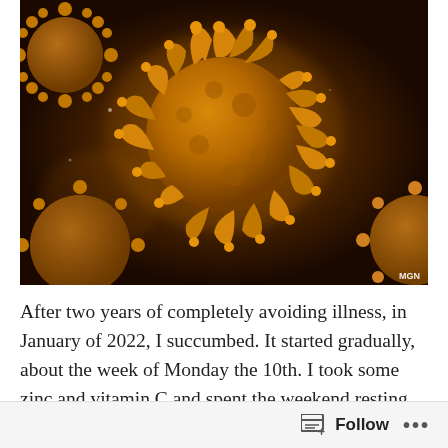[Figure (photo): 3D illustration of coronavirus particles with golden/amber spiky protein structures against a dark background. Watermark 'MGN' in bottom right corner.]
After two years of completely avoiding illness, in January of 2022, I succumbed. It started gradually, about the week of Monday the 10th. I took some zinc and vitamin C and spent the weekend resting. The next week, Tuesday rolled around and I woke up stuffy. But Spring comes early CA and I've always had